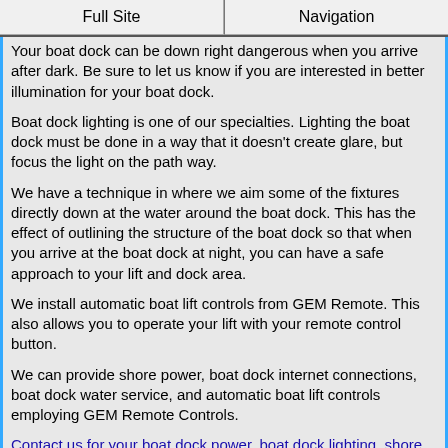Full Site | Navigation
Your boat dock can be down right dangerous when you arrive after dark. Be sure to let us know if you are interested in better illumination for your boat dock.
Boat dock lighting is one of our specialties. Lighting the boat dock must be done in a way that it doesn't create glare, but focus the light on the path way.
We have a technique in where we aim some of the fixtures directly down at the water around the boat dock. This has the effect of outlining the structure of the boat dock so that when you arrive at the boat dock at night, you can have a safe approach to your lift and dock area.
We install automatic boat lift controls from GEM Remote. This also allows you to operate your lift with your remote control button.
We can provide shore power, boat dock internet connections, boat dock water service, and automatic boat lift controls employing GEM Remote Controls.
Contact us for your boat dock power, boat dock lighting, shore power and boat lift wiring needs.
Solar Energy System Design  And Solar Panels Installation By Your Apopka Florida Electrician